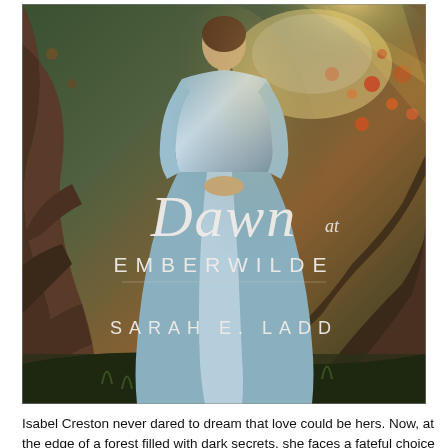[Figure (photo): Book cover of 'Dawn at Emberwilde' by Sarah E. Ladd. Shows a woman in a long blue dress standing in a forest with large tree roots, lit by golden light. Title in elegant script and spaced serif lettering overlaid on the image.]
Isabel Creston never dared to dream that love could be hers. Now, at the edge of a forest filled with dark secrets, she faces a fateful choice between love and duty.
For as long as she can remember, beautiful and free-spirited Isabel has strained against the rules and rigidity of the